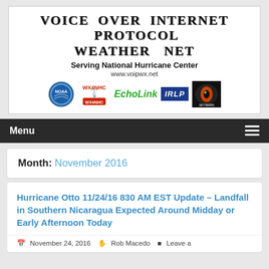[Figure (logo): Voice Over Internet Protocol Weather Net banner with NOAA, WX4NHC, EchoLink, IRLP, and SKYWARN logos. Text: VOICE OVER INTERNET PROTOCOL WEATHER NET. Serving National Hurricane Center. www.voipwx.net]
Menu
Month: November 2016
Hurricane Otto 11/24/16 830 AM EST Update – Landfall in Southern Nicaragua Expected Around Midday or Early Afternoon Today
November 24, 2016   Rob Macedo   Leave a